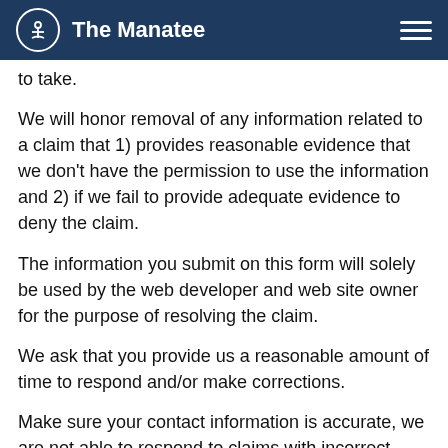The Manatee
to take.
We will honor removal of any information related to a claim that 1) provides reasonable evidence that we don't have the permission to use the information and 2) if we fail to provide adequate evidence to deny the claim.
The information you submit on this form will solely be used by the web developer and web site owner for the purpose of resolving the claim.
We ask that you provide us a reasonable amount of time to respond and/or make corrections.
Make sure your contact information is accurate, we are not able to respond to claims with incorrect contact information.
Copyright Abuse Form